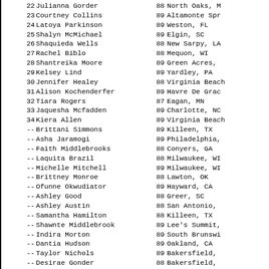22 Julianna Gorder 88 North Oaks, M
23 Courtney Collins 89 Altamonte Spr
24 Latoya Parkinson 89 Weston, FL
25 Shalyn McMichael 89 Elgin, SC
26 Shaquieda Wells 88 New Sarpy, LA
27 Rachel Biblo 88 Mequon, WI
28 Shantreika Moore 89 Green Acres,
29 Kelsey Lind 89 Yardley, PA
30 Jennifer Healey 88 Virginia Beach
31 Alison Kochenderfer 89 Havre De Grace
32 Tiara Rogers 87 Eagan, MN
33 Jaquesha Mcfadden 89 Charlotte, NC
34 Kiera Allen 89 Virginia Beach
-- Brittani Simmons 89 Killeen, TX
-- Asha Jaramogi 89 Philadelphia,
-- Faith Middlebrooks 88 Conyers, GA
-- Laquita Brazil 88 Milwaukee, WI
-- Michelle Mitchell 89 Milwaukee, WI
-- Brittney Monroe 88 Lawton, OK
-- Ofunne Okwudiator 89 Hayward, CA
-- Ashley Good 88 Greer, SC
-- Ashley Austin 88 San Antonio,
-- Samantha Hamilton 88 Killeen, TX
-- Shawnte Middlebrook 89 Lee's Summit,
-- Indira Morton 89 South Brunswi
-- Dantia Hudson 89 Oakland, CA
-- Taylor Nichols 89 Bakersfield,
-- Desirae Gonder 88 Bakersfield,
Young Men
-no results this day-